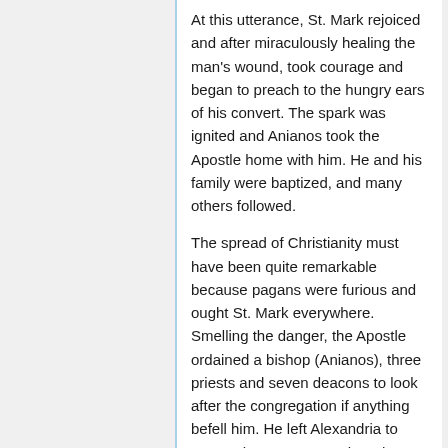At this utterance, St. Mark rejoiced and after miraculously healing the man's wound, took courage and began to preach to the hungry ears of his convert. The spark was ignited and Anianos took the Apostle home with him. He and his family were baptized, and many others followed.
The spread of Christianity must have been quite remarkable because pagans were furious and ought St. Mark everywhere. Smelling the danger, the Apostle ordained a bishop (Anianos), three priests and seven deacons to look after the congregation if anything befell him. He left Alexandria to Berce, then to Rome, where he met St. Peter and St. Paul and remained there until their martyrdom in 64 A.D.
Upon returning to Alexandria in 65 AD…